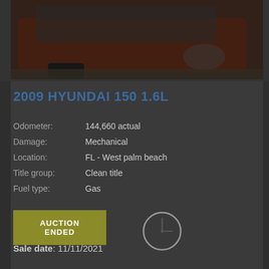[Figure (photo): Partial front view of a red/orange 2009 Hyundai vehicle, cropped showing front hood, headlight area and front bumper on a gravel surface]
2009 HYUNDAI 150 1.6L
Odometer: 144,660 actual
Damage: Mechanical
Location: FL - West palm beach
Title group: Clean title
Fuel type: Gas
AUCTION ENDED
Sale date: 11/11/2021